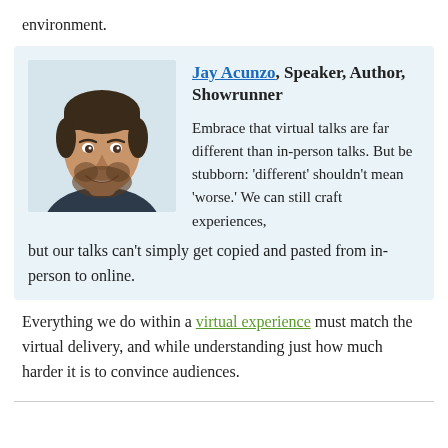environment.
[Figure (photo): Headshot of Jay Acunzo, a man with short dark hair and a beard, smiling, wearing a dark shirt, against a light background.]
Jay Acunzo, Speaker, Author, Showrunner

Embrace that virtual talks are far different than in-person talks. But be stubborn: ‘different’ shouldn’t mean ‘worse.’ We can still craft experiences, but our talks can’t simply get copied and pasted from in-person to online.
Everything we do within a virtual experience must match the virtual delivery, and while understanding just how much harder it is to convince audiences.